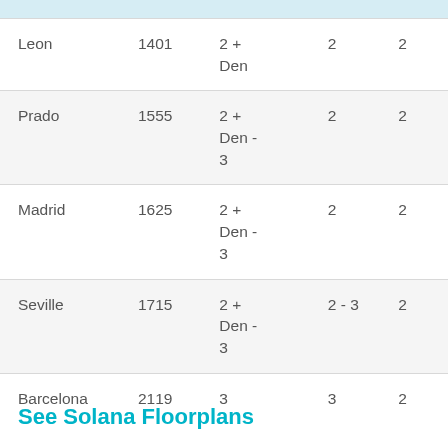|  |  |  |  |  |
| --- | --- | --- | --- | --- |
| Leon | 1401 | 2 + Den | 2 | 2 |
| Prado | 1555 | 2 + Den - 3 | 2 | 2 |
| Madrid | 1625 | 2 + Den - 3 | 2 | 2 |
| Seville | 1715 | 2 + Den - 3 | 2 - 3 | 2 |
| Barcelona | 2119 | 3 | 3 | 2 |
See Solana Floorplans